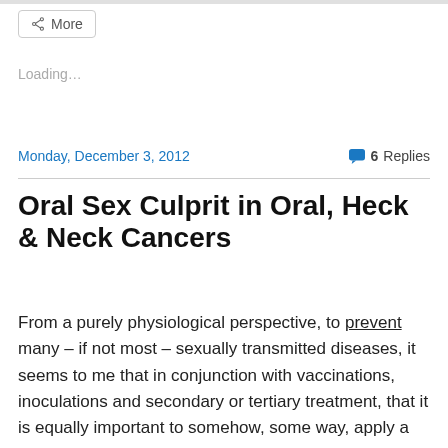More
Loading...
Monday, December 3, 2012    6 Replies
Oral Sex Culprit in Oral, Heck & Neck Cancers
From a purely physiological perspective, to prevent many – if not most – sexually transmitted diseases, it seems to me that in conjunction with vaccinations, inoculations and secondary or tertiary treatment, that it is equally important to somehow, some way, apply a modicum of SELF